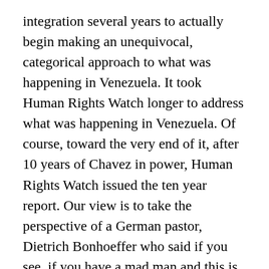integration several years to actually begin making an unequivocal, categorical approach to what was happening in Venezuela. It took Human Rights Watch longer to address what was happening in Venezuela. Of course, toward the very end of it, after 10 years of Chavez in power, Human Rights Watch issued the ten year report. Our view is to take the perspective of a German pastor, Dietrich Bonhoeffer who said if you see, if you have a mad man and this is a pastor during Nazi Germany, a mad man who has taken control of a car and is taking that car into a group of innocent people- do you seek to take control of the car from the mad man or do you sit back and wait and comfort the victims? Unfortunately too many human rights groups are interested in comforting the victims. Chavez said everything he was going to do, from the first week he was in power and he kept saying it over and over again he said I'm going to destroy